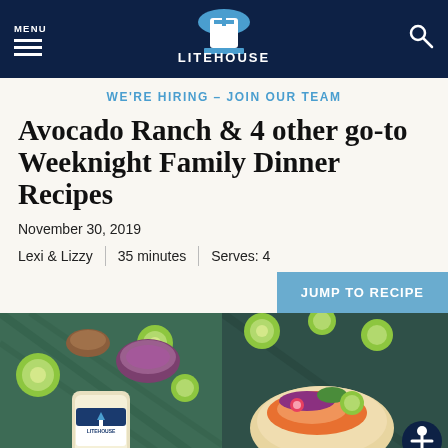MENU — Litehouse (logo) — Search
WE'RE HIRING – JOIN OUR TEAM
Avocado Ranch & 4 other go-to Weeknight Family Dinner Recipes
November 30, 2019
Lexi & Lizzy | 35 minutes | Serves: 4
JUMP TO RECIPE
[Figure (photo): Two side-by-side food photos: left shows a jar of Litehouse Avocado Ranch dressing with limes and bowls of ingredients on a teal background; right shows fish tacos with lime slices on a teal background with an accessibility icon.]